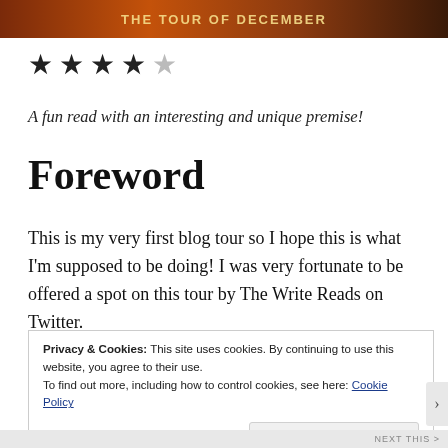[Figure (photo): Dark reddish-brown banner with golden text, appears to be a blog tour header image]
★ ★ ★ ★ ☆ (4 out of 5 stars)
A fun read with an interesting and unique premise!
Foreword
This is my very first blog tour so I hope this is what I'm supposed to be doing! I was very fortunate to be offered a spot on this tour by The Write Reads on Twitter.
Privacy & Cookies: This site uses cookies. By continuing to use this website, you agree to their use.
To find out more, including how to control cookies, see here: Cookie Policy
Close and accept